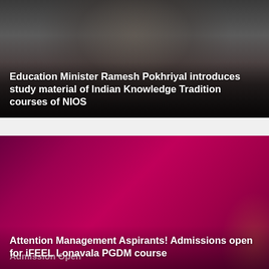[Figure (photo): Dark photo of Education Minister Ramesh Pokhriyal with gradient overlay and bold white title text at the bottom]
Education Minister Ramesh Pokhriyal introduces study material of Indian Knowledge Tradition courses of NIOS
[Figure (photo): Magenta/crimson background with partial text about iFEEL PGDM admissions and books visible at bottom right]
Attention Management Aspirants! Admissions open for iFEEL Lonavala PGDM course